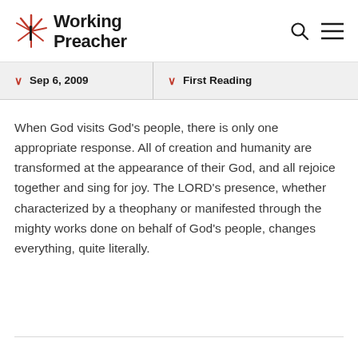Working Preacher
Sep 6, 2009   First Reading
When God visits God's people, there is only one appropriate response. All of creation and humanity are transformed at the appearance of their God, and all rejoice together and sing for joy. The LORD's presence, whether characterized by a theophany or manifested through the mighty works done on behalf of God's people, changes everything, quite literally.